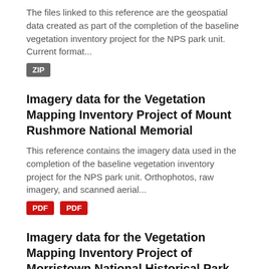The files linked to this reference are the geospatial data created as part of the completion of the baseline vegetation inventory project for the NPS park unit. Current format...
ZIP
Imagery data for the Vegetation Mapping Inventory Project of Mount Rushmore National Memorial
This reference contains the imagery data used in the completion of the baseline vegetation inventory project for the NPS park unit. Orthophotos, raw imagery, and scanned aerial...
PDF PDF
Imagery data for the Vegetation Mapping Inventory Project of Morristown National Historical Park
This reference contains the imagery data used in the completion of the baseline vegetation inventory project